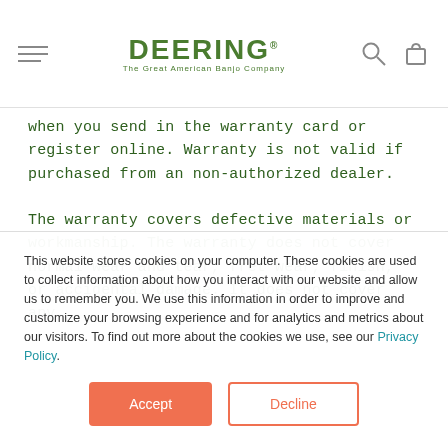DEERING — The Great American Banjo Company
when you send in the warranty card or register online. Warranty is not valid if purchased from an non-authorized dealer.

The warranty covers defective materials or workmanship. The warranty does not cover normal wear and tear, fret wear, finish, or accidental damage. It does not cover any
This website stores cookies on your computer. These cookies are used to collect information about how you interact with our website and allow us to remember you. We use this information in order to improve and customize your browsing experience and for analytics and metrics about our visitors. To find out more about the cookies we use, see our Privacy Policy.